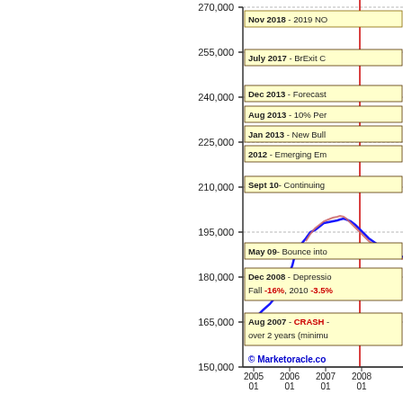[Figure (continuous-plot): A financial/housing market chart showing values from 2005 to 2008+, with y-axis ranging from 150,000 to 270,000. Contains a blue line and red line showing market trends. Multiple annotation boxes label key events: Nov 2018-2019 NO, July 2017 BrExit C, Dec 2013 Forecast, Aug 2013 10% Per, Jan 2013 New Bull, 2012 Emerging Em, Sept 10 Continuing, May 09 Bounce into, Dec 2008 Depression Fall -16% 2010 -3.5%, Aug 2007 CRASH over 2 years (minimum. Copyright Marketoracle.co shown at bottom.]